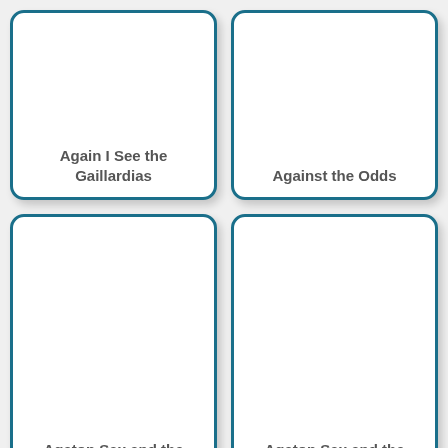[Figure (other): Book card: Again I See the Gaillardias]
[Figure (other): Book card: Against the Odds]
[Figure (other): Book card: Agaton Sax and the London Computer Plot]
[Figure (other): Book card: Agaton Sax and the Max Brothers]
[Figure (other): Book card: partial, no title visible]
[Figure (other): Book card: partial, no title visible]